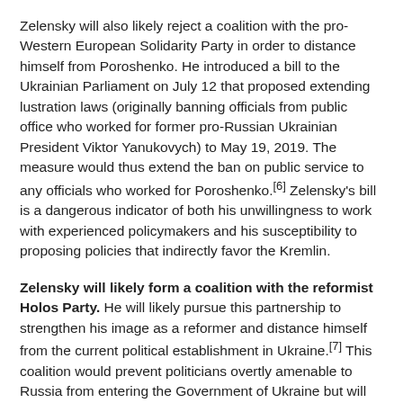Zelensky will also likely reject a coalition with the pro-Western European Solidarity Party in order to distance himself from Poroshenko. He introduced a bill to the Ukrainian Parliament on July 12 that proposed extending lustration laws (originally banning officials from public office who worked for former pro-Russian Ukrainian President Viktor Yanukovych) to May 19, 2019. The measure would thus extend the ban on public service to any officials who worked for Poroshenko.[6] Zelensky's bill is a dangerous indicator of both his unwillingness to work with experienced policymakers and his susceptibility to proposing policies that indirectly favor the Kremlin.
Zelensky will likely form a coalition with the reformist Holos Party. He will likely pursue this partnership to strengthen his image as a reformer and distance himself from the current political establishment in Ukraine.[7] This coalition would prevent politicians overtly amenable to Russia from entering the Government of Ukraine but will still be open to manipulation and likely less effective than the previous Ukrainian Parliament under Poroshenko.